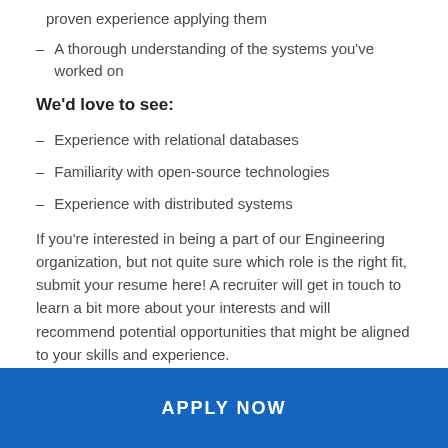proven experience applying them
A thorough understanding of the systems you've worked on
We'd love to see:
Experience with relational databases
Familiarity with open-source technologies
Experience with distributed systems
If you're interested in being a part of our Engineering organization, but not quite sure which role is the right fit, submit your resume here! A recruiter will get in touch to learn a bit more about your interests and will recommend potential opportunities that might be aligned to your skills and experience.
APPLY NOW